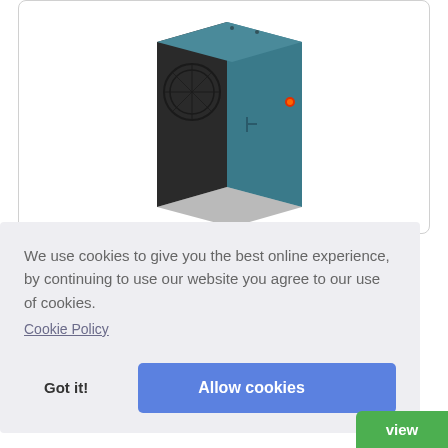[Figure (photo): Industrial computer or server unit with dark blue/teal enclosure and black ventilated side panel, small red/orange indicator on the front]
We use cookies to give you the best online experience, by continuing to use our website you agree to our use of cookies.
Cookie Policy
Got it!
Allow cookies
View